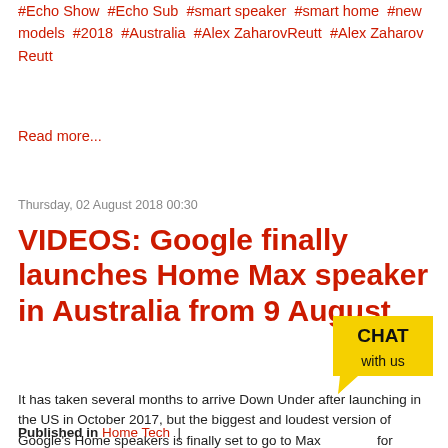#Echo Show #Echo Sub #smart speaker #smart home #new models #2018 #Australia #Alex ZaharovReutt #Alex Zaharov Reutt
Read more...
Thursday, 02 August 2018 00:30
VIDEOS: Google finally launches Home Max speaker in Australia from 9 August
It has taken several months to arrive Down Under after launching in the US in October 2017, but the biggest and loudest version of Google's Home speakers is finally set to go to Max order for A$549.
[Figure (infographic): Yellow speech-bubble shaped chat widget with text CHAT with us in black and white]
Published in Home Tech |